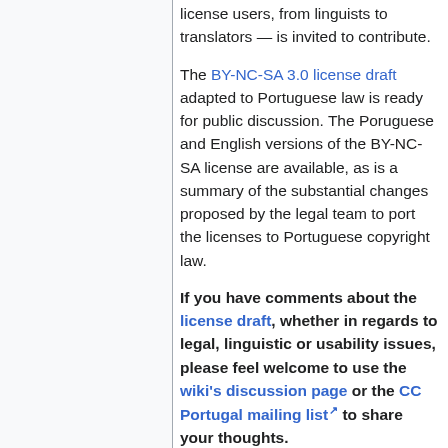license users, from linguists to translators — is invited to contribute.
The BY-NC-SA 3.0 license draft adapted to Portuguese law is ready for public discussion. The Poruguese and English versions of the BY-NC-SA license are available, as is a summary of the substantial changes proposed by the legal team to port the licenses to Portuguese copyright law.
If you have comments about the license draft, whether in regards to legal, linguistic or usability issues, please feel welcome to use the wiki's discussion page or the CC Portugal mailing list to share your thoughts.
Comments should be submitted as soon as possible to allow enough time for review, so we encourage you to post to